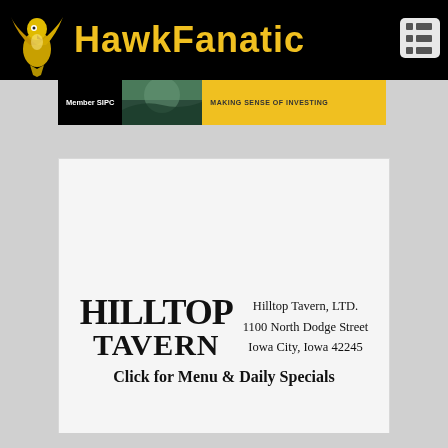HawkFanatic
[Figure (screenshot): Advertisement banner showing 'Member SIPC' text on black background with forest photo and 'MAKING SENSE OF INVESTING' text on yellow background]
[Figure (logo): Hilltop Tavern logo with stylized text and address: Hilltop Tavern, LTD. 1100 North Dodge Street Iowa City, Iowa 42245. Click for Menu & Daily Specials]